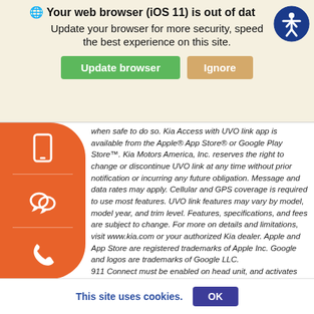Your web browser (iOS 11) is out of date. Update your browser for more security, speed and the best experience on this site.
Update browser | Ignore
when safe to do so. Kia Access with UVO link app is available from the Apple® App Store® or Google Play Store™. Kia Motors America, Inc. reserves the right to change or discontinue UVO link at any time without prior notification or incurring any future obligation. Message and data rates may apply. Cellular and GPS coverage is required to use most features. UVO link features may vary by model, model year, and trim level. Features, specifications, and fees are subject to change. For more on details and limitations, visit www.kia.com or your authorized Kia dealer. Apple and App Store are registered trademarks of Apple Inc. Google and logos are trademarks of Google LLC. 911 Connect must be enabled on head unit, and activates after air bag deployment. Requires a compatible smartphone connected via Bluetooth® wireless technology and cellular coverage. Cellular service rates apply. Simulated screen
This site uses cookies. OK